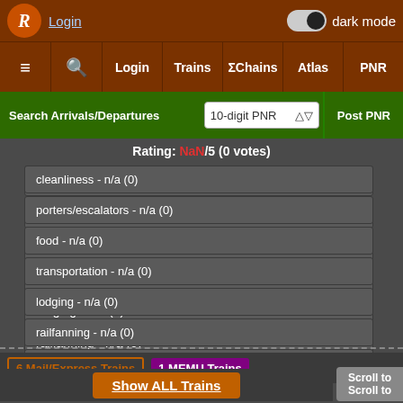Login | dark mode toggle
≡ 🔍 Login Trains ΣChains Atlas PNR
Search Arrivals/Departures | 10-digit PNR | Post PNR
Rating: NaN/5 (0 votes)
cleanliness - n/a (0)
porters/escalators - n/a (0)
food - n/a (0)
transportation - n/a (0)
lodging - n/a (0)
railfanning - n/a (0)
sightseeing - n/a (0)
safety - n/a (0)
6 Mail/Express Trains | 1 MEMU Trains
Show ALL Trains
Scroll to
Scroll to